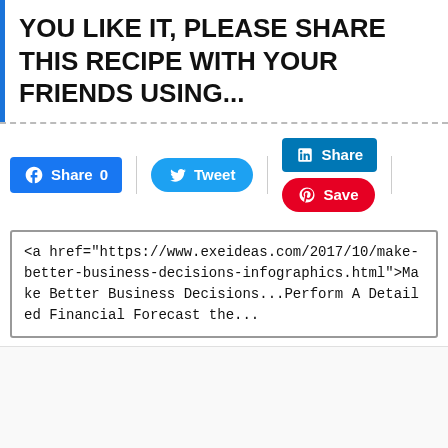YOU LIKE IT, PLEASE SHARE THIS RECIPE WITH YOUR FRIENDS USING...
[Figure (screenshot): Social sharing buttons: Facebook Share 0, Twitter Tweet, LinkedIn Share, Pinterest Save]
<a href="https://www.exeideas.com/2017/10/make-better-business-decisions-infographics.html">Make Better Business Decisions...